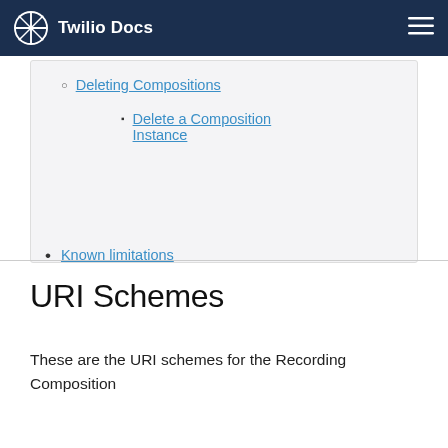Twilio Docs
Deleting Compositions
Delete a Composition Instance
Known limitations
URI Schemes
These are the URI schemes for the Recording Composition